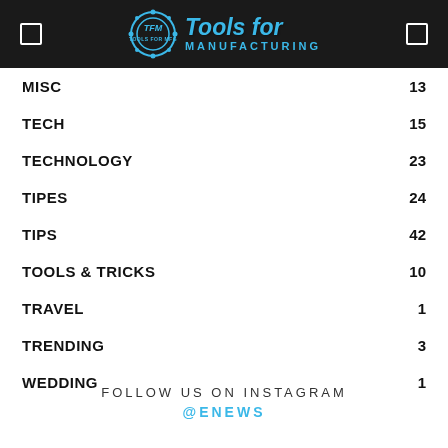Tools for Manufacturing
MISC 13
TECH 15
TECHNOLOGY 23
TIPES 24
TIPS 42
TOOLS & TRICKS 10
TRAVEL 1
TRENDING 3
WEDDING 1
FOLLOW US ON INSTAGRAM
@ENEWS